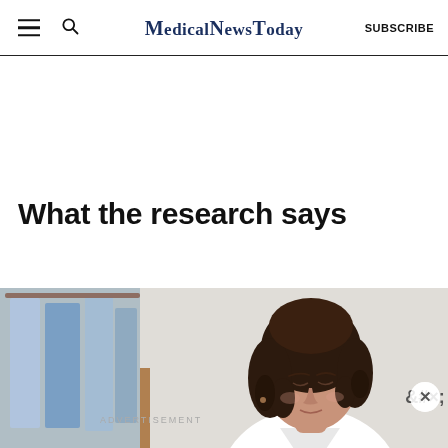MedicalNewsToday | SUBSCRIBE
What the research says
[Figure (photo): A woman with curly dark hair looking down, wearing a white top, in a room with clothes hanging in the background and a small yellow cup visible. ADVERTISEMENT label and close (×) button overlay at bottom.]